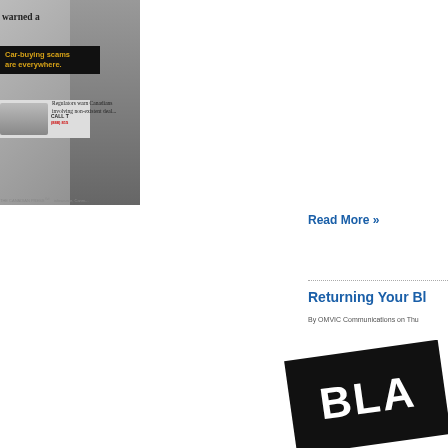[Figure (screenshot): News article screenshot showing a car-buying scams advertisement with a woman looking worried, text 'warned a...' and 'Car-buying scams are everywhere.' in yellow on black banner, with a car image and 'Regulators warn Canadians involving non-existent deal...' text from The Canadian Press]
Read More »
Returning Your Bl...
By OMVIC Communications on Thu...
[Figure (photo): Black sign/plate with white bold text reading 'BLA...' (partially visible), rotated at an angle]